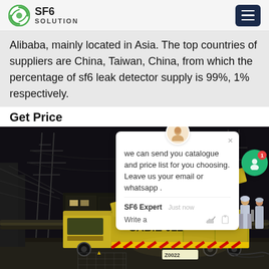SF6 SOLUTION
Alibaba, mainly located in Asia. The top countries of suppliers are China, Taiwan, China, from which the percentage of sf6 leak detector supply is 99%, 1% respectively.
Get Price
[Figure (photo): Night-time industrial photo showing a yellow service truck (marked 022) at an electrical substation, with high-voltage pylons in the background and workers in safety gear on the truck platform.]